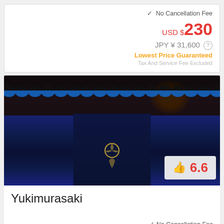✓ No Cancellation Fee
USD $ 230
JPY ¥ 31,600
Lowest Price Guaranteed
Tax And Service Fee Excluded
[Figure (photo): Nighttime photo of a Japanese restaurant/inn entrance with blue-lit roof tiles, dark fabric curtain (noren) with emblem, and warm lantern glow]
6.6
Yukimurasaki
✓ No Cancellation Fee